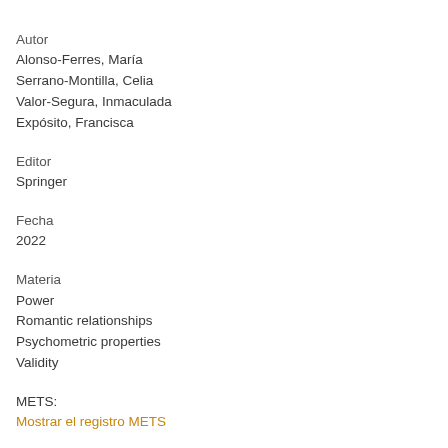Autor
Alonso-Ferres, María
Serrano-Montilla, Celia
Valor-Segura, Inmaculada
Expósito, Francisca
Editor
Springer
Fecha
2022
Materia
Power
Romantic relationships
Psychometric properties
Validity
METS:
Mostrar el registro METS